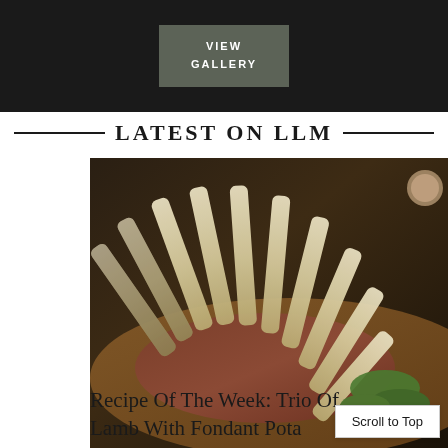[Figure (photo): Dark photographic image with a gray-green rectangular button overlay reading VIEW GALLERY in white bold uppercase letters]
— LATEST ON LLM —
[Figure (photo): Close-up food photograph of a rack of lamb with exposed bones fanned out on a wooden cutting board, garnished with fresh thyme sprigs, served on a rustic wood board]
Recipe Of The Week: Trio Of Lamb With Fondant Pota
Scroll to Top